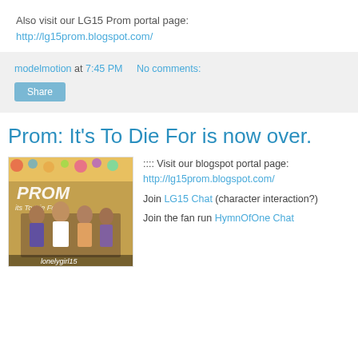Also visit our LG15 Prom portal page: http://lg15prom.blogspot.com/
modelmotion at 7:45 PM   No comments:
Share
Prom: It's To Die For is now over.
[Figure (photo): Prom It's To Die For movie image with group of young people, lonelygirl15 branding]
:::: Visit our blogspot portal page: http://lg15prom.blogspot.com/ Join LG15 Chat (character interaction?) Join the fan run HymnOfOne Chat